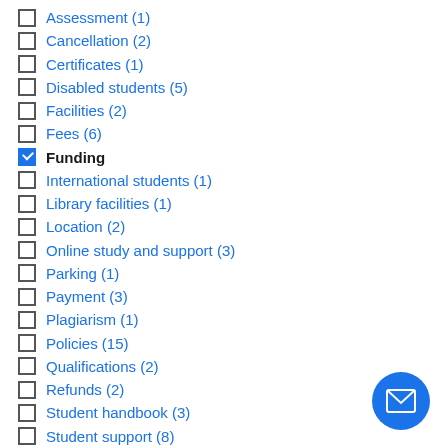Assessment (1)
Cancellation (2)
Certificates (1)
Disabled students (5)
Facilities (2)
Fees (6)
Funding
International students (1)
Library facilities (1)
Location (2)
Online study and support (3)
Parking (1)
Payment (3)
Plagiarism (1)
Policies (15)
Qualifications (2)
Refunds (2)
Student handbook (3)
Student support (8)